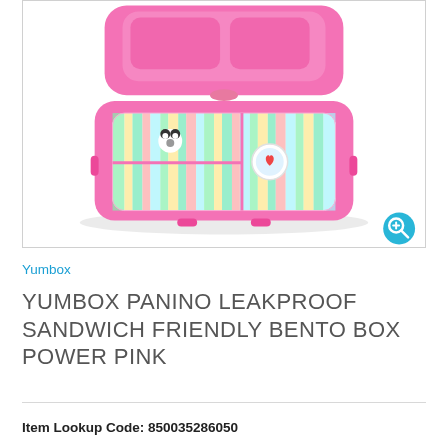[Figure (photo): A pink Yumbox Panino bento box open, showing colorful bamboo and panda themed interior tray with multiple compartments, photographed from above against a white background.]
Yumbox
YUMBOX PANINO LEAKPROOF SANDWICH FRIENDLY BENTO BOX POWER PINK
Item Lookup Code: 850035286050